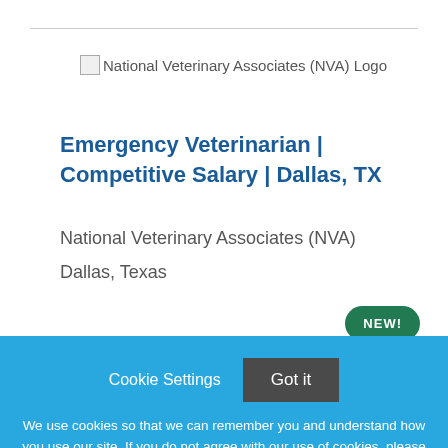[Figure (logo): National Veterinary Associates (NVA) Logo placeholder image with alt text]
Emergency Veterinarian | Competitive Salary | Dallas, TX
National Veterinary Associates (NVA)
Dallas, Texas
NEW!
Cookie Settings
Got it
We use cookies so that we can remember you and understand how you use our site. If you do not agree with our use of cookies, please change the current settings found in our Cookie Policy. Otherwise, you agree to the use of the cookies as they are currently set.